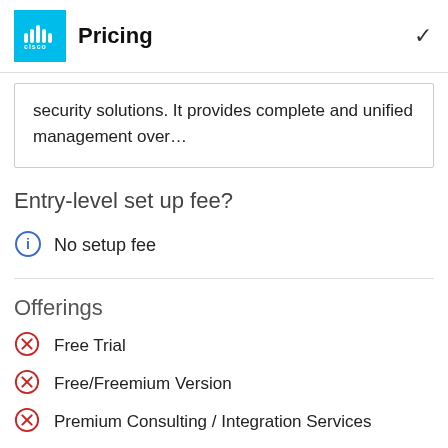Pricing
security solutions. It provides complete and unified management over…
Entry-level set up fee?
No setup fee
Offerings
Free Trial
Free/Freemium Version
Premium Consulting / Integration Services